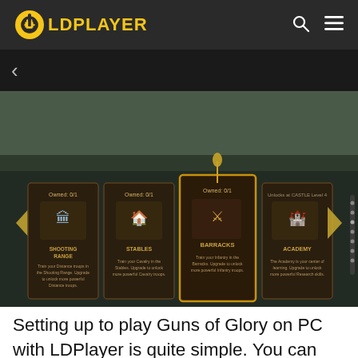LDPLAYER
[Figure (screenshot): Game screenshot showing building cards from Guns of Glory: Shooting Range, Stables, Barracks (highlighted), and Academy, each with Owned: 0/1 status and descriptions]
Setting up to play Guns of Glory on PC with LDPlayer is quite simple. You can download LDPlayer 3 simulating Android 5.1.2 or LDPlayer 4 using Android 7.1.2 first on your desktop. Both versions are capable of playing Guns of Glory smoothly on PC whil